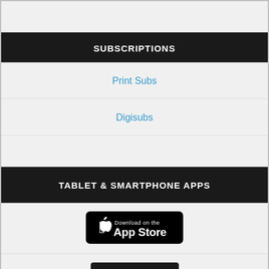SUBSCRIPTIONS
Print Subs
Digisubs
TABLET & SMARTPHONE APPS
[Figure (logo): Download on the App Store badge]
[Figure (logo): GET IT ON Google play badge (partially visible)]